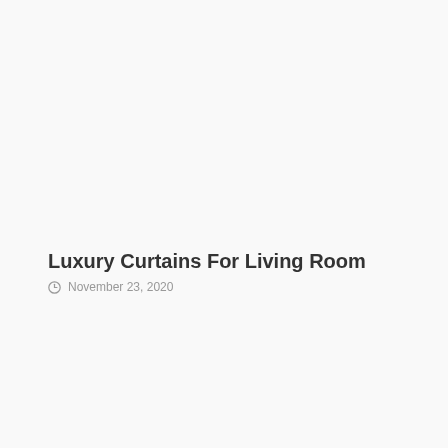Luxury Curtains For Living Room
© November 23, 2020